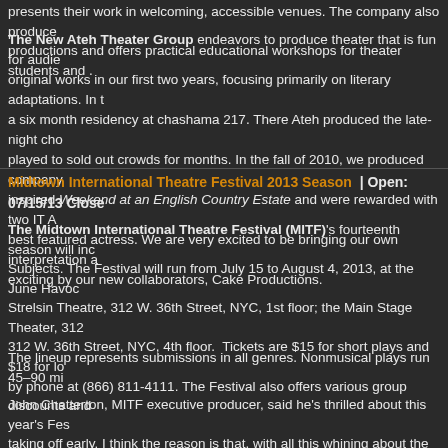presents their work in welcoming, accessible venues. The company also produce productions and offers practical educational workshops for theater students and .
The New Ateh Theater Group endeavors to produce theater that is fun for audie original works in our first two years, focusing primarily on literary adaptations. In a six month residency at chashama 217. There Ateh produced the late-night cho played to sold out crowds for months. In the fall of 2010, we produced company inspired Weekend at an English Country Estate and were rewarded with two IT A best featured actress. We are very excited to be bringing our own interpretation exciting by our new collaborators, Cake Productions.
Midtown International Theatre Festival 2013 Season | Open: 07/15/13 Close
The Midtown International Theatre Festival (MITF)'s fourteenth season will inc Subjects. The Festival will run from July 15 to August 4, 2013, at the June Havoc Strelsin Theatre, 312 W. 36th Street, NYC, 1st floor; the Main Stage Theater, 312 312 W. 36th Street, NYC, 4th floor. Tickets are $15 for short plays and $18 for lo by phone at (866) 811-4111. The Festival also offers various group discounts an
The lineup represents submissions in all genres. Nonmusical plays run 45–90 mi
John Chatterton, MITF executive producer, said he's thrilled about this year's Fe taking off early. I think the reason is that, with all this whining about the economy, storage, insurance...) to encourage people to produce shows in the Festival. Wh